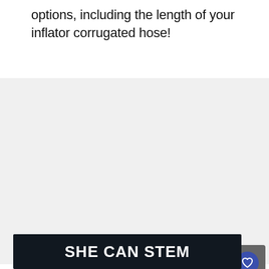options, including the length of your inflator corrugated hose!
[Figure (other): Light gray image placeholder area with three gray dots in the center, UI elements including a heart/favorite button (blue circle on gray square) and a share button (white circle with share icon) on the right side]
[Figure (other): Dark navy/black banner with bold white uppercase text reading SHE CAN STEM]